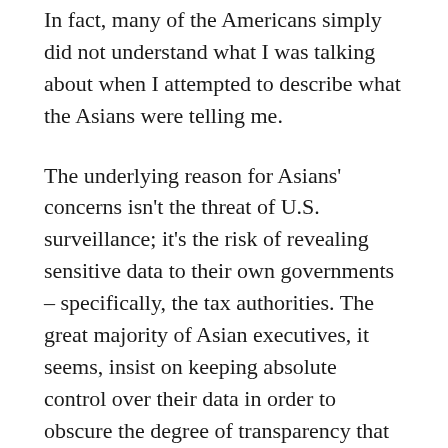In fact, many of the Americans simply did not understand what I was talking about when I attempted to describe what the Asians were telling me.
The underlying reason for Asians' concerns isn't the threat of U.S. surveillance; it's the risk of revealing sensitive data to their own governments – specifically, the tax authorities. The great majority of Asian executives, it seems, insist on keeping absolute control over their data in order to obscure the degree of transparency that Americans naïvely took for granted until now, and which undoubtedly fueled the cloud computing industry's rapid growth in recent years.